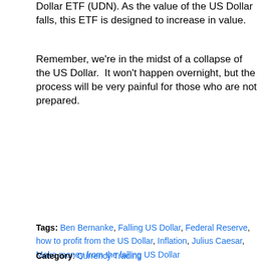Dollar ETF (UDN). As the value of the US Dollar falls, this ETF is designed to increase in value.
Remember, we're in the midst of a collapse of the US Dollar. It won't happen overnight, but the process will be very painful for those who are not prepared.
[Figure (screenshot): Search widget with ad overlay. Ad titled 'What Is the Next Gen Coin?' with image of Ian King, description 'Experts are saying it will be 20 times bigger than bitcoin at its all-time high.' and a blue 'GET STORY HERE!' button. Search result item 5: Best Dividend Stocks to Own.]
Tags: Ben Bernanke, Falling US Dollar, Federal Reserve, how to profit from the US Dollar, Inflation, Julius Caesar, Make money from the falling US Dollar
Category: Currency Trading